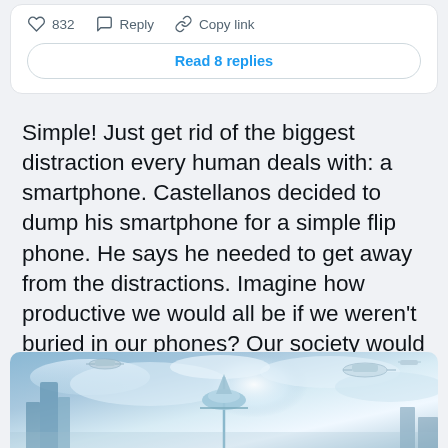[Figure (screenshot): Social media post action bar showing: heart icon with 832 likes, Reply button, Copy link button, and a 'Read 8 replies' button below]
Simple! Just get rid of the biggest distraction every human deals with: a smartphone. Castellanos decided to dump his smartphone for a simple flip phone. He says he needed to get away from the distractions. Imagine how productive we would all be if we weren't buried in our phones? Our society would literally be this meme.
[Figure (photo): Futuristic city scene with flying vehicles and a space needle-like tower against a bright sky, serving as a meme image]